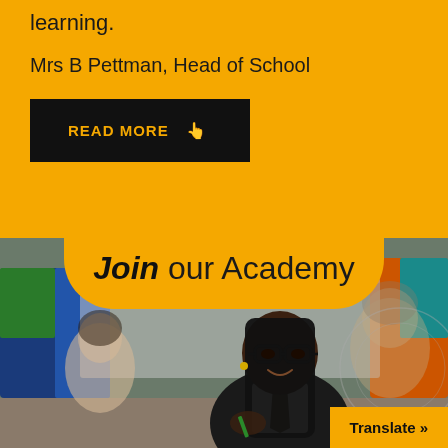learning.
Mrs B Pettman, Head of School
READ MORE
Join our Academy
[Figure (photo): A smiling female student wearing glasses and a school uniform with tie, sitting at a desk in a classroom setting, with other students and colourful displays in the background.]
Translate »